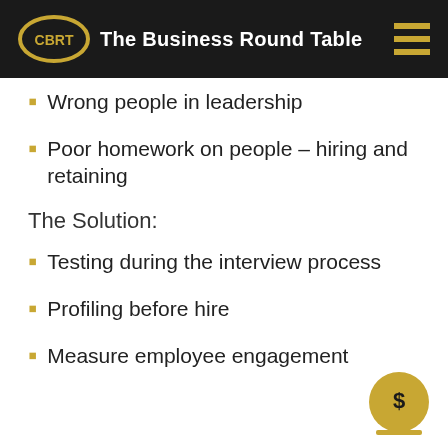CBRT The Business Round Table
Wrong people in leadership
Poor homework on people – hiring and retaining
The Solution:
Testing during the interview process
Profiling before hire
Measure employee engagement
[Figure (illustration): Gold coin with dollar sign icon]